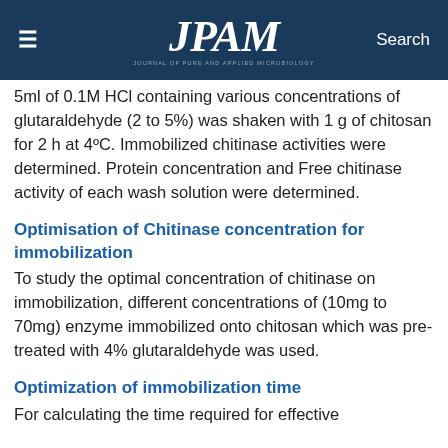JPAM
5ml of 0.1M HCl containing various concentrations of glutaraldehyde (2 to 5%) was shaken with 1 g of chitosan for 2 h at 4ºC. Immobilized chitinase activities were determined. Protein concentration and Free chitinase activity of each wash solution were determined.
Optimisation of Chitinase concentration for immobilization
To study the optimal concentration of chitinase on immobilization, different concentrations of (10mg to 70mg) enzyme immobilized onto chitosan which was pre-treated with 4% glutaraldehyde was used.
Optimization of immobilization time
For calculating the time required for effective